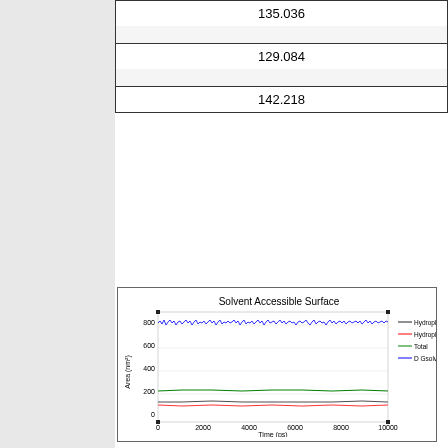| 135.036 |
|  |
| 129.084 |
|  |
| 142.218 |
[Figure (line-chart): Line chart showing solvent accessible surface area over time (0-10000 ps). Blue line fluctuates around 800-850 nm². Green line stable around 230 nm². Black line stable around 135 nm². Red line stable around 110 nm².]
Figure 41: Area of the protein which is accesible to the surface during the simulation with standard deviation for the wildtyp